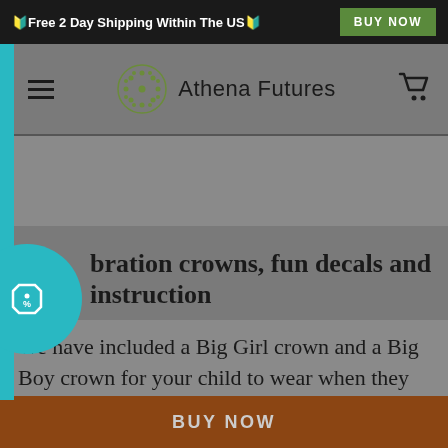🔰Free 2 Day Shipping Within The US🔰  BUY NOW
[Figure (logo): Athena Futures logo with dotted sphere icon and text]
bration crowns, fun decals and instruction
We have included a Big Girl crown and a Big Boy crown for your child to wear when they are using the toilet which is fun and makes them feel grown up. There is also a laminated instruction chart that
BUY NOW